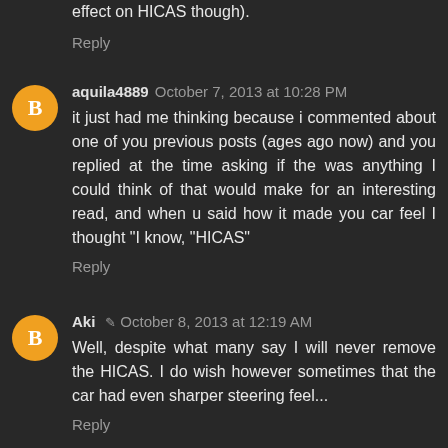effect on HICAS though).
Reply
aquila4889  October 7, 2013 at 10:28 PM
it just had me thinking because i commented about one of you previous posts (ages ago now) and you replied at the time asking if the was anything I could think of that would make for an interesting read, and when u said how it made you car feel I thought "I know, "HICAS"
Reply
Aki  October 8, 2013 at 12:19 AM
Well, despite what many say I will never remove the HICAS. I do wish however sometimes that the car had even sharper steering feel...
Reply